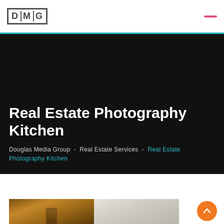DMG | Douglas Media Group navigation header
Real Estate Photography Kitchen
Douglas Media Group - Real Estate Services - Real Estate Photography Kitchen
[Figure (photo): Real estate kitchen photography showing two kitchen images side by side, one with warmer tones and cabinetry, one with lighter modern cabinets]
[Figure (other): Orange circular scroll-to-top button with upward arrow]